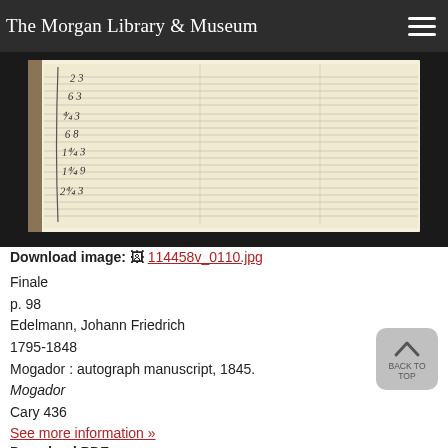The Morgan Library & Museum
[Figure (photo): Close-up of a handwritten musical manuscript page showing staff lines with handwritten musical notation and numbers, on aged cream paper with dark border.]
Download image: 114458v_0110.jpg
Finale
p. 98
Edelmann, Johann Friedrich
1795-1848
Mogador : autograph manuscript, 1845.
Mogador
Cary 436
See more information »
Download PDF:
| Attachment | Size |
| --- | --- |